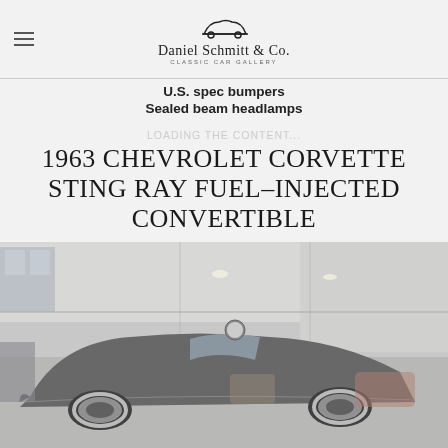Daniel Schmitt & Co. Classic Car Gallery
U.S. spec bumpers
Sealed beam headlamps
LOADING THE CONTENT...
1963 CHEVROLET CORVETTE STING RAY FUEL-INJECTED CONVERTIBLE
[Figure (photo): 1963 Chevrolet Corvette Sting Ray Fuel-Injected Convertible, dark silver/gray color, photographed inside a large dealership building with high ceilings and industrial lighting]